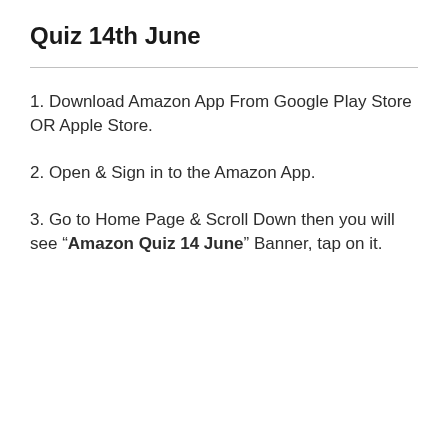Quiz 14th June
1. Download Amazon App From Google Play Store OR Apple Store.
2. Open & Sign in to the Amazon App.
3. Go to Home Page & Scroll Down then you will see “Amazon Quiz 14 June” Banner, tap on it.